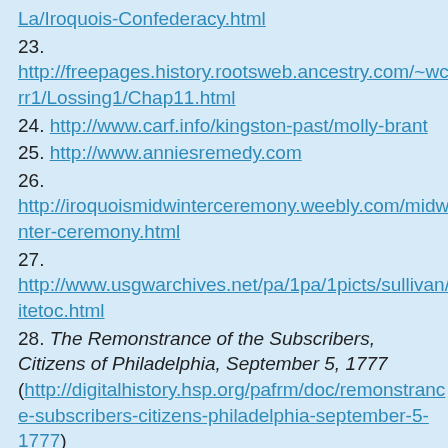La/Iroquois-Confederacy.html
23. http://freepages.history.rootsweb.ancestry.com/~wcarr1/Lossing1/Chap11.html
24. http://www.carf.info/kingston-past/molly-brant
25. http://www.anniesremedy.com
26. http://iroquoismidwinterceremony.weebly.com/midwinter-ceremony.html
27. http://www.usgwarchives.net/pa/1pa/1picts/sullivan/sitetoc.html
28. The Remonstrance of the Subscribers, Citizens of Philadelphia, September 5, 1777 (http://digitalhistory.hsp.org/pafrm/doc/remonstrance-subscribers-citizens-philadelphia-september-5-1777)
29. The Other Side of the American Revolution: A Look at